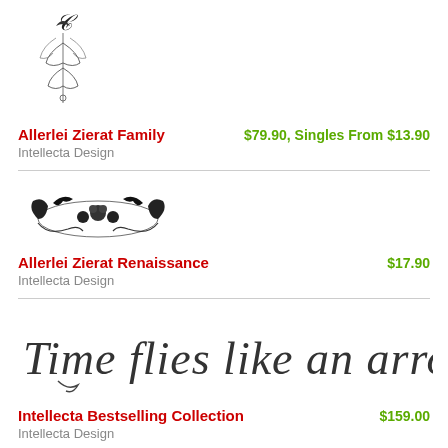[Figure (illustration): Ornate Victorian decorative emblem with a crescent moon and intricate floral/scroll motifs]
Allerlei Zierat Family — $79.90, Singles From $13.90
Intellecta Design
[Figure (illustration): Black decorative ornament with birds and floral scrollwork in baroque style]
Allerlei Zierat Renaissance — $17.90
Intellecta Design
[Figure (illustration): Calligraphic script text reading 'Time flies like an arrow, but...' in ornate cursive]
Intellecta Bestselling Collection — $159.00
Intellecta Design